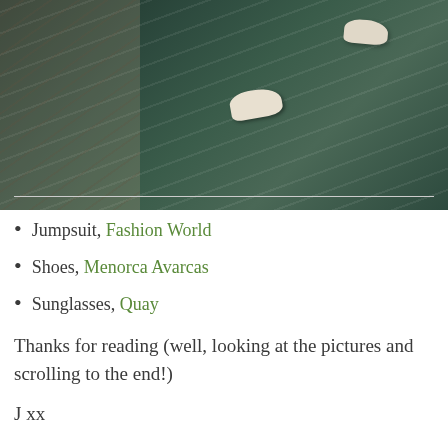[Figure (photo): Photo of person's feet/shoes on green escalator steps, viewed from above. White sandal-style shoes visible against green tiled/escalator surface. Left portion shows a beige panel with diagonal line texture.]
Jumpsuit, Fashion World
Shoes, Menorca Avarcas
Sunglasses, Quay
Thanks for reading (well, looking at the pictures and scrolling to the end!)
J xx